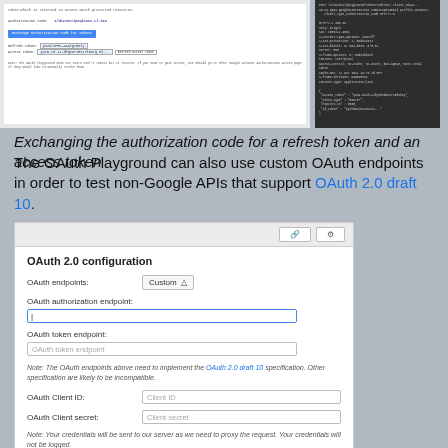[Figure (screenshot): Screenshot of OAuth Playground showing authorization code exchange UI and HTTP response with JSON token data]
Exchanging the authorization code for a refresh token and an access token
The OAuth Playground can also use custom OAuth endpoints in order to test non-Google APIs that support OAuth 2.0 draft 10.
[Figure (screenshot): OAuth 2.0 configuration dialog showing fields for OAuth endpoints (Custom), OAuth authorization endpoint, OAuth token endpoint, OAuth Client ID, OAuth Client secret, and a note about credentials and proxy.]